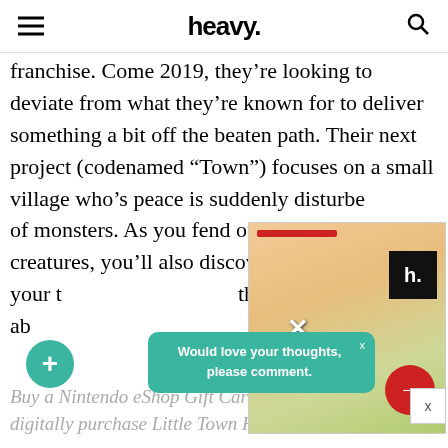heavy.
franchise. Come 2019, they’re looking to deviate from what they’re known for to deliver something a bit off the beaten path. Their next project (codenamed “Town”) focuses on a small village who’s peace is suddenly disturbed by a horde of monsters. As you fend off the creatures, you’ll also discover th your t that ab
[Figure (photo): Advertisement overlay showing a couple with heavy. logo and red arrow button]
Would love your thoughts, please comment.
Buy a Nintendo eShop Gift Card here so you can digitally purchase Little Town Hero.